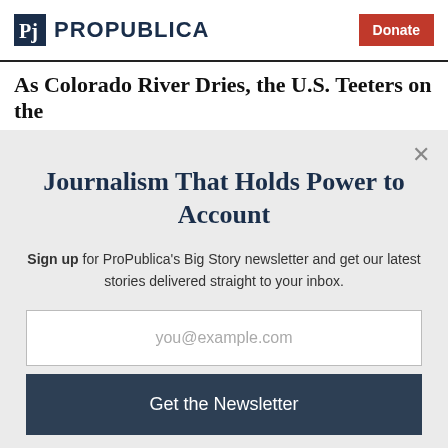ProPublica — Donate
As Colorado River Dries, the U.S. Teeters on the
Journalism That Holds Power to Account
Sign up for ProPublica's Big Story newsletter and get our latest stories delivered straight to your inbox.
you@example.com
Get the Newsletter
No thanks, I'm all set
This site is protected by reCAPTCHA and the Google Privacy Policy and Terms of Service apply.